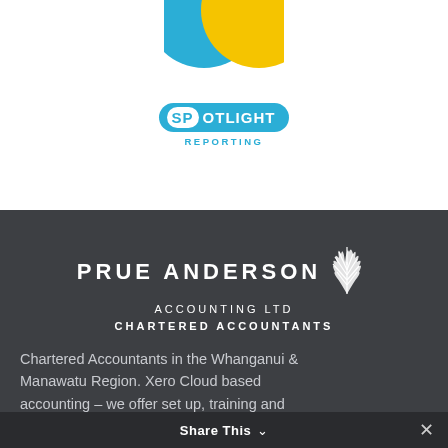[Figure (logo): Two overlapping circles - one blue/cyan and one yellow, partially shown at the top of the page]
[Figure (logo): Spotlight Reporting logo - blue badge with SP in white circle and OTLIGHT in white text, REPORTING subtitle in blue below]
[Figure (logo): Prue Anderson Accounting Ltd Chartered Accountants logo with white leaf/fern graphic on dark grey background]
Chartered Accountants in the Whanganui & Manawatu Region. Xero Cloud based accounting – we offer set up, training and ongoing support.
Share This ∨  ✕